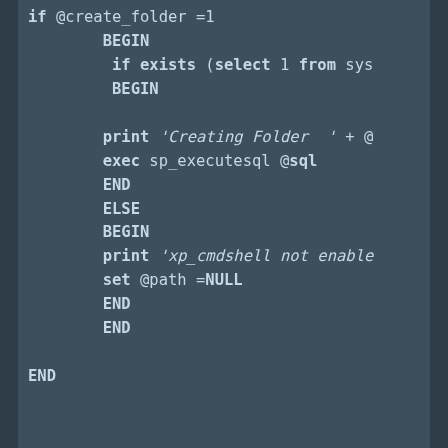[Figure (screenshot): SQL Server stored procedure code snippet showing conditional logic for creating a folder and adding distribution databases, displayed in a dark-themed code editor.]